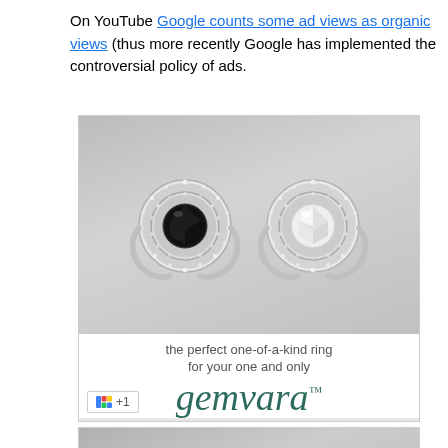On YouTube Google counts some ad views as organic views (thus more recently Google has implemented the controversial policy of ads.
[Figure (photo): Advertisement for Gemvara jewelry showing two diamond rings side by side - one with a black center stone and one with a white/clear center stone, both with double halo settings. Text reads 'the perfect one-of-a-kind ring for your one and only' and brand name 'gemvara'. Includes Google +1 button.]
[Figure (photo): Second identical Gemvara jewelry advertisement showing the same two diamond rings, partially visible at bottom of page.]